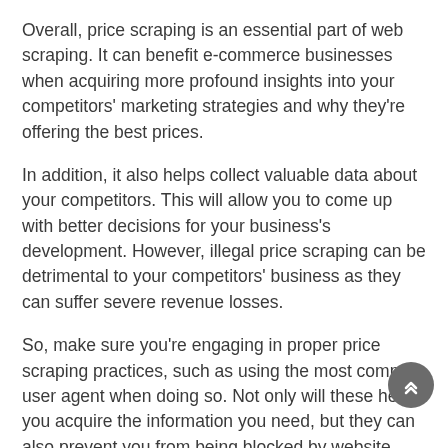Overall, price scraping is an essential part of web scraping. It can benefit e-commerce businesses when acquiring more profound insights into your competitors' marketing strategies and why they're offering the best prices.
In addition, it also helps collect valuable data about your competitors. This will allow you to come up with better decisions for your business's development. However, illegal price scraping can be detrimental to your competitors' business as they can suffer severe revenue losses.
So, make sure you're engaging in proper price scraping practices, such as using the most common user agent when doing so. Not only will these help you acquire the information you need, but they can also prevent you from being blocked by website servers.